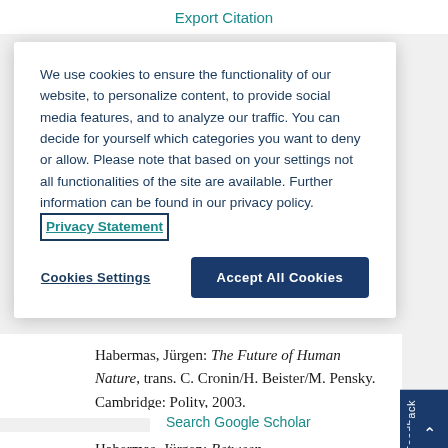Export Citation
We use cookies to ensure the functionality of our website, to personalize content, to provide social media features, and to analyze our traffic. You can decide for yourself which categories you want to deny or allow. Please note that based on your settings not all functionalities of the site are available. Further information can be found in our privacy policy. Privacy Statement
Cookies Settings | Accept All Cookies
Habermas, Jürgen: The Future of Human Nature, trans. C. Cronin/H. Beister/M. Pensky. Cambridge: Polity, 2003.
Search Google Scholar
Export Citation
Habermas, Jürgen: Between